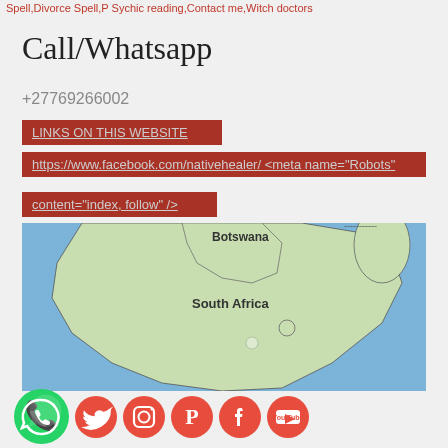Spell,Divorce Spell,P Sychic reading,Contact me,Witch doctors
Call/Whatsapp
+27769266002
LINKS ON THIS WEBSITE
https://www.facebook.com/nativehealer/ <meta name="Robots" content="index, follow" />
[Figure (map): Google map showing southern Africa region with Botswana and South Africa labeled, surrounded by blue ocean]
[Figure (infographic): Social media icons row: WhatsApp (green), Twitter, Instagram, Pinterest, Facebook, YouTube (all red)]